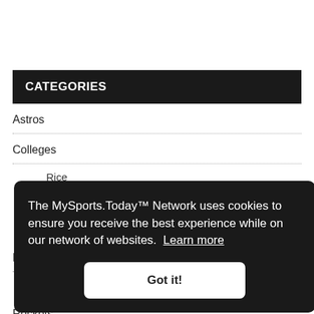CATEGORIES
Astros
Colleges
Rice
Texas A&M
University of Houston
Football
Texans
Rockets
Soccer
The MySports.Today™ Network uses cookies to ensure you receive the best experience while on our network of websites. Learn more
Got it!